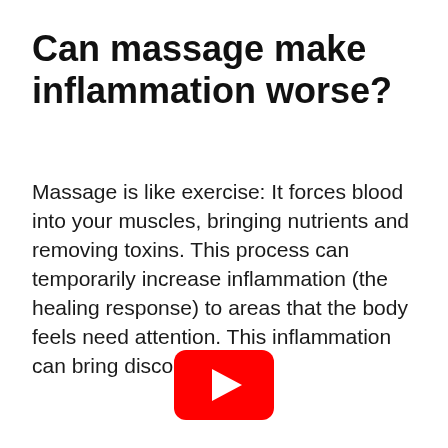Can massage make inflammation worse?
Massage is like exercise: It forces blood into your muscles, bringing nutrients and removing toxins. This process can temporarily increase inflammation (the healing response) to areas that the body feels need attention. This inflammation can bring discomfort.
[Figure (other): YouTube play button icon — red rounded rectangle with white triangle play symbol]